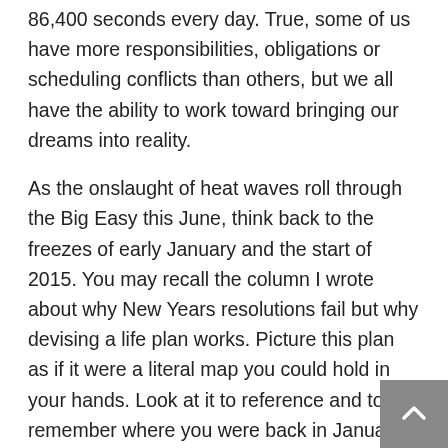86,400 seconds every day. True, some of us have more responsibilities, obligations or scheduling conflicts than others, but we all have the ability to work toward bringing our dreams into reality.
As the onslaught of heat waves roll through the Big Easy this June, think back to the freezes of early January and the start of 2015. You may recall the column I wrote about why New Years resolutions fail but why devising a life plan works. Picture this plan as if it were a literal map you could hold in your hands. Look at it to reference and to remember where you were back in January, and to determine where are you now in relation to where you ultimately want to be. Where do you currently stand? Have there been a small steps made toward turning your thoughts into